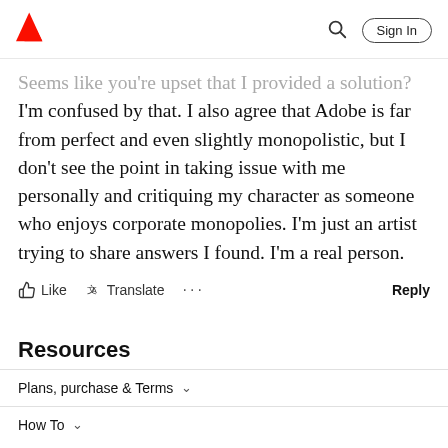Adobe [logo] | [search icon] Sign In
Seems like you're upset that I provided a solution? I'm confused by that. I also agree that Adobe is far from perfect and even slightly monopolistic, but I don't see the point in taking issue with me personally and critiquing my character as someone who enjoys corporate monopolies. I'm just an artist trying to share answers I found. I'm a real person.
Like  Translate  ...  Reply
Resources
Plans, purchase & Terms
How To